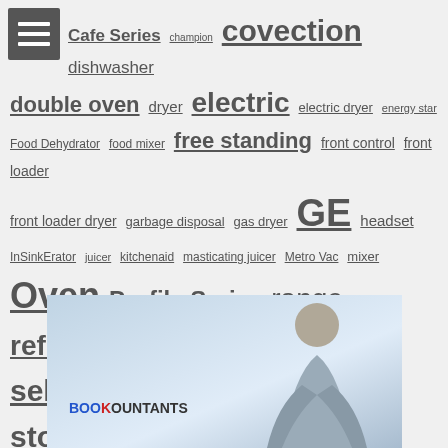Cafe Series champion covection dishwasher double oven dryer electric electric dryer energy star Food Dehydrator food mixer free standing front control front loader front loader dryer garbage disposal gas dryer GE headset InSinkErator juicer kitchenaid masticating juicer Metro Vac mixer Oven Profile Series range refrigerator self cleaning oven speed queen stove top loader Vacuum Vacuum Cleaner vitamix vitamix blender washer Whirlpool wifi
[Figure (photo): Photo of a smiling woman in a grey shirt with the Bookountants logo text visible]